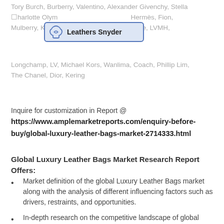Tory Burch, Burberry, Valentino, Alexander Givenchy, Stella Charlotte Olympia, Hermès, Fion, Mulberry, Kate Spade, Le Fantôme de Céline, LVMH, Longchamp, LV, Michael Kors, Wanlima, Coach, Phillip Lim, The Chanel, Dior, Kering
[Figure (logo): Leathers Snyder logo with leather icon on blue background]
Inquire for customization in Report @ https://www.amplemarketreports.com/enquiry-before-buy/global-luxury-leather-bags-market-2714333.html
Global Luxury Leather Bags Market Research Report Offers:
Market definition of the global Luxury Leather Bags market along with the analysis of different influencing factors such as drivers, restraints, and opportunities.
In-depth research on the competitive landscape of global luxury leather bags